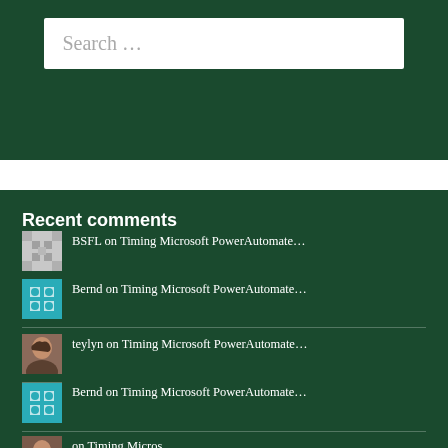Search …
Recent comments
BSFL on Timing Microsoft PowerAutomate…
Bernd on Timing Microsoft PowerAutomate…
teylyn on Timing Microsoft PowerAutomate…
Bernd on Timing Microsoft PowerAutomate…
on Timing Microsoft…